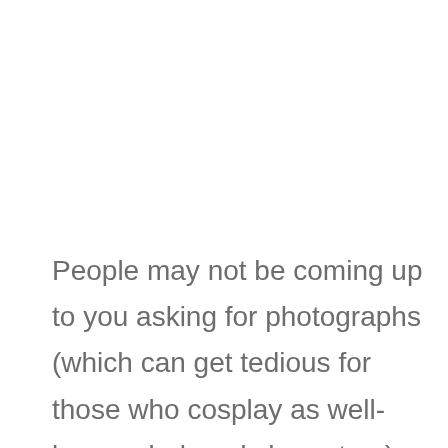People may not be coming up to you asking for photographs (which can get tedious for those who cosplay as well-known, beloved characters), but they may still ask questions